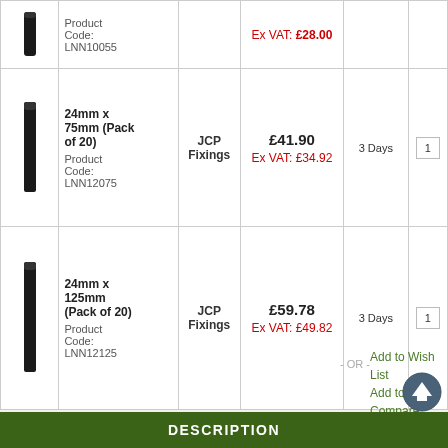| Image | Description | Brand | Price | Delivery | Qty |
| --- | --- | --- | --- | --- | --- |
| [image] | Product Code: LNN10055 |  | Ex VAT: £28.00+ |  | 1 |
| [image] | 24mm x 75mm (Pack of 20)
Product Code: LNN12075 | JCP Fixings | £41.90
Ex VAT: £34.92 | 3 Days | 1 |
| [image] | 24mm x 125mm (Pack of 20)
Product Code: LNN12125 | JCP Fixings | £59.78
Ex VAT: £49.82 | 3 Days | 1 |
- OR -
Add to Wish List
Add to Compare
DESCRIPTION